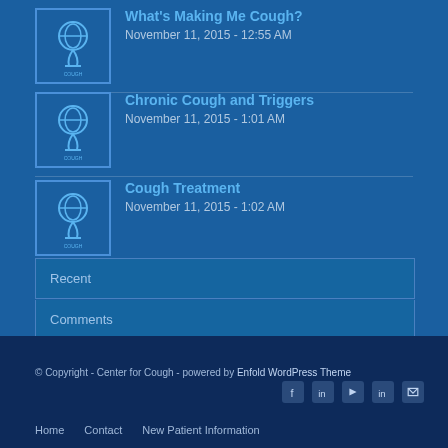What's Making Me Cough?
November 11, 2015 - 12:55 AM
Chronic Cough and Triggers
November 11, 2015 - 1:01 AM
Cough Treatment
November 11, 2015 - 1:02 AM
Recent
Comments
Tags
© Copyright - Center for Cough - powered by Enfold WordPress Theme
Home   Contact   New Patient Information